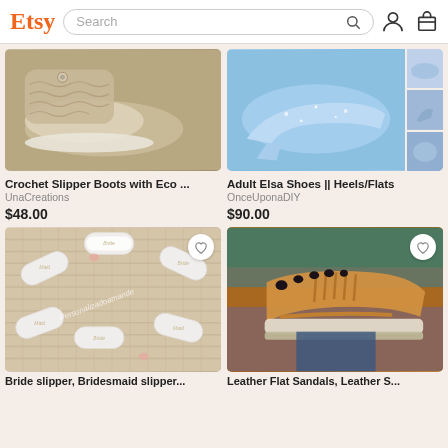Etsy — Search bar with user and cart icons
[Figure (photo): Crochet slipper boots in beige/tan color, close-up showing texture and sole]
Crochet Slipper Boots with Eco ...
UnaCreations
$48.00
[Figure (photo): Adult Elsa Shoes in blue glitter — main heels plus three thumbnail angles]
Adult Elsa Shoes || Heels/Flats
OnceUponaDIY
$90.00
[Figure (photo): Bride and bridesmaid white slippers arranged in a circle on woven mat, with cursive watermark text]
Bride slipper, Bridesmaid slipper...
[Figure (photo): Leather flat sandals with fringe details in tan/caramel color on a person's feet]
Leather Flat Sandals, Leather S...